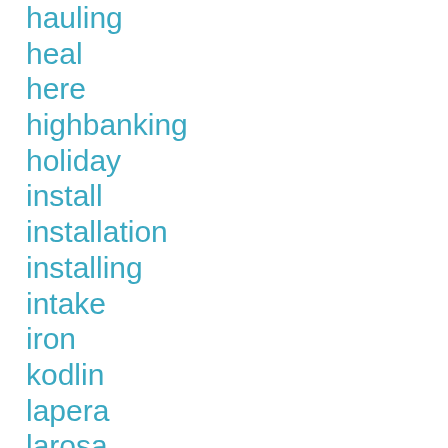hauling
heal
here
highbanking
holiday
install
installation
installing
intake
iron
kodlin
lapera
larosa
late
lazise
lepera
lnu-0le
long
lourdes